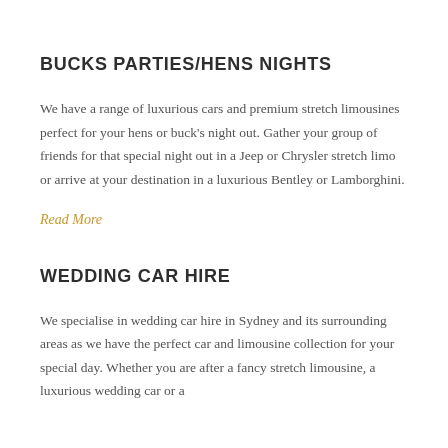BUCKS PARTIES/HENS NIGHTS
We have a range of luxurious cars and premium stretch limousines perfect for your hens or buck’s night out. Gather your group of friends for that special night out in a Jeep or Chrysler stretch limo or arrive at your destination in a luxurious Bentley or Lamborghini.
Read More
WEDDING CAR HIRE
We specialise in wedding car hire in Sydney and its surrounding areas as we have the perfect car and limousine collection for your special day. Whether you are after a fancy stretch limousine, a luxurious wedding car or a